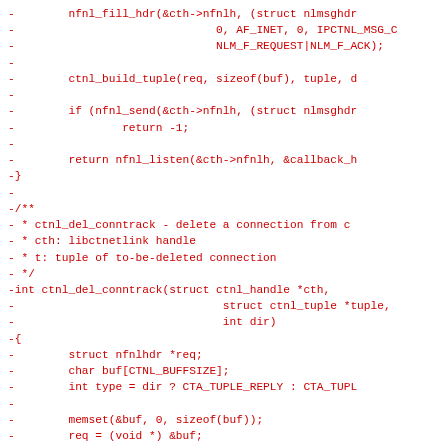[Figure (other): Source code diff showing deleted lines (prefixed with -) of C code, including function calls to nfnl_fill_hdr, ctnl_build_tuple, nfnl_send, nfnl_listen, and definition of ctnl_del_conntrack function with struct declarations and memory operations, rendered in red monospace font on white background.]